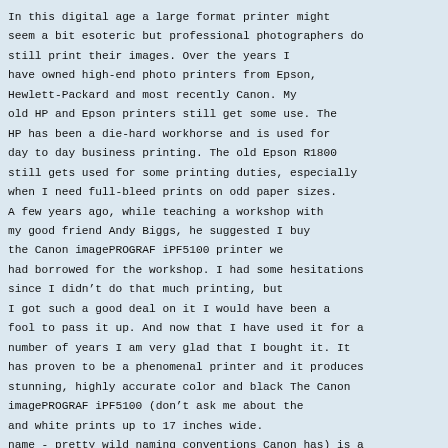In this digital age a large format printer might seem a bit esoteric but professional photographers do still print their images. Over the years I have owned high-end photo printers from Epson, Hewlett-Packard and most recently Canon. My old HP and Epson printers still get some use. The HP has been a die-hard workhorse and is used for day to day business printing. The old Epson R1800 still gets used for some printing duties, especially when I need full-bleed prints on odd paper sizes. A few years ago, while teaching a workshop with my good friend Andy Biggs, he suggested I buy the Canon imagePROGRAF iPF5100 printer we had borrowed for the workshop. I had some hesitations since I didn't do that much printing, but I got such a good deal on it I would have been a fool to pass it up. And now that I have used it for a number of years I am very glad that I bought it. It has proven to be a phenomenal printer and it produces stunning, highly accurate color and black The Canon imagePROGRAF iPF5100 (don't ask me about the and white prints up to 17 inches wide. name - pretty wild naming conventions Canon has) is a beast of a Living in the dry high alpine environment of printer. At 80-plus pounds it requires a strong back to move it but Santa Fe, New Mexico I have always had prob- the results are stunning color accurate prints. I highly recommend lems with Epson inks getting blocked up in the that folks buying this printer also get the printer stand. It will make